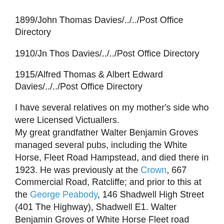1899/John Thomas Davies/../../Post Office Directory
1910/Jn Thos Davies/../../Post Office Directory
1915/Alfred Thomas & Albert Edward Davies/../../Post Office Directory
I have several relatives on my mother's side who were Licensed Victuallers.
My great grandfather Walter Benjamin Groves managed several pubs, including the White Horse, Fleet Road Hampstead, and died there in 1923. He was previously at the Crown, 667 Commercial Road, Ratcliffe; and prior to this at the George Peabody, 146 Shadwell High Street (401 The Highway), Shadwell E1. Walter Benjamin Groves of White Horse Fleet road Hampstead Middlesex died 10 February 1923 Probate London 14 March to Alfred Thomas Groves licensed victualler. Effects £1403 4s 6d.